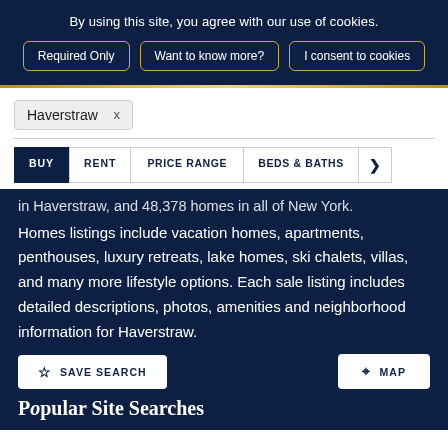By using this site, you agree with our use of cookies.
Required Only
Want to know more?
I consent to cookies
Haverstraw ×
BUY
RENT
PRICE RANGE
BEDS & BATHS
in Haverstraw, and 48,378 homes in all of New York.
Homes listings include vacation homes, apartments, penthouses, luxury retreats, lake homes, ski chalets, villas, and many more lifestyle options. Each sale listing includes detailed descriptions, photos, amenities and neighborhood information for Haverstraw.
SAVE SEARCH
MAP
Popular Site Searches